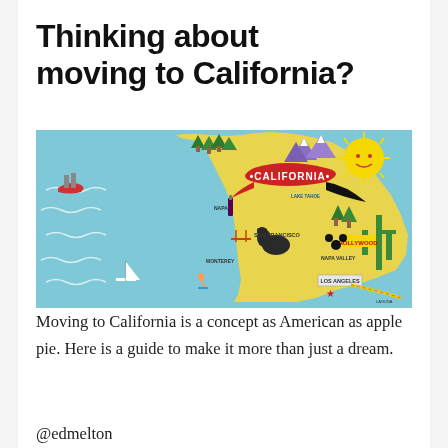Thinking about moving to California?
[Figure (illustration): Illustrated decorative map of California showing landmarks including San Francisco, Monterey, Los Angeles, Lake Tahoe, Hollywood, Napa Valley, and Laguna Beach, with ocean on the left, mountains, trees, sun, and a red banner reading CALIFORNIA]
Moving to California is a concept as American as apple pie. Here is a guide to make it more than just a dream.
@edmelton